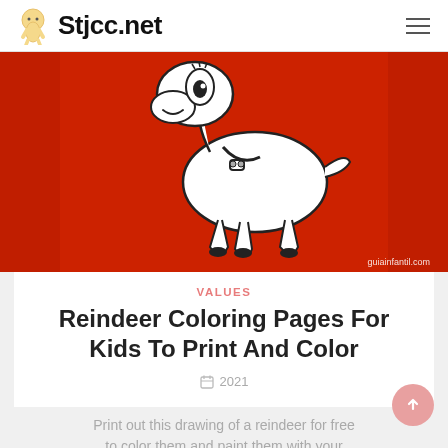Stjcc.net
[Figure (illustration): A cartoon reindeer coloring page outline on a red background, with 'guiainfantil.com' watermark in the bottom right corner.]
VALUES
Reindeer Coloring Pages For Kids To Print And Color
2021
Print out this drawing of a reindeer for free to color them and paint them with your